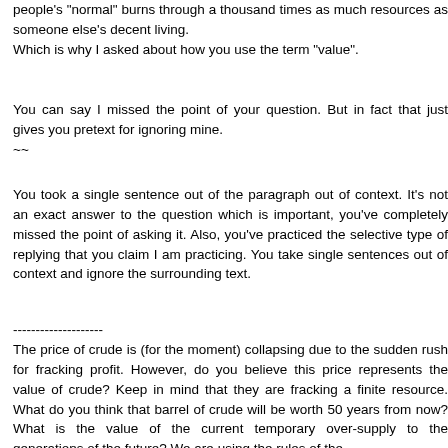people's "normal" burns through a thousand times as much resources as someone else's decent living.
Which is why I asked about how you use the term "value".
You can say I missed the point of your question. But in fact that just gives you pretext for ignoring mine.
~~
You took a single sentence out of the paragraph out of context. It's not an exact answer to the question which is important, you've completely missed the point of asking it. Also, you've practiced the selective type of replying that you claim I am practicing. You take single sentences out of context and ignore the surrounding text.
--------------------
The price of crude is (for the moment) collapsing due to the sudden rush for fracking profit. However, do you believe this price represents the value of crude? Keep in mind that they are fracking a finite resource. What do you think that barrel of crude will be worth 50 years from now? What is the value of the current temporary over-supply to the generations of the future? We are using the rules of the